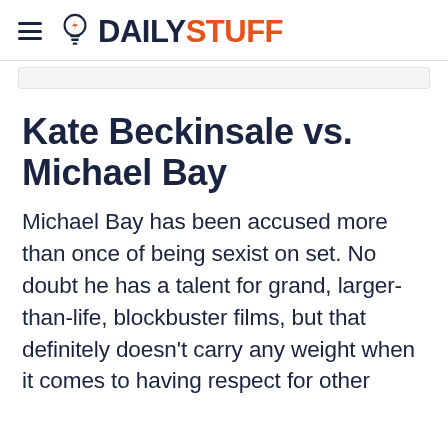DAILYSTUFF
Kate Beckinsale vs. Michael Bay
Michael Bay has been accused more than once of being sexist on set. No doubt he has a talent for grand, larger-than-life, blockbuster films, but that definitely doesn't carry any weight when it comes to having respect for other